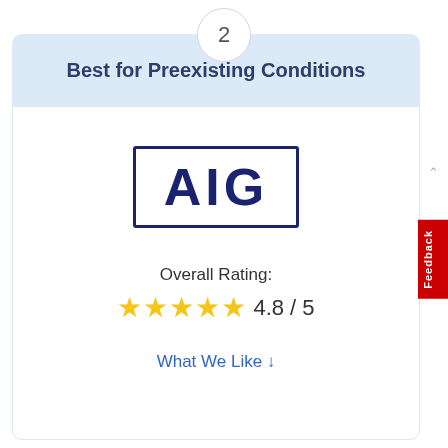2
Best for Preexisting Conditions
[Figure (logo): AIG company logo — bold dark navy letters 'AIG' inside a rectangular navy border]
Overall Rating:
4.8 / 5
What We Like ↓